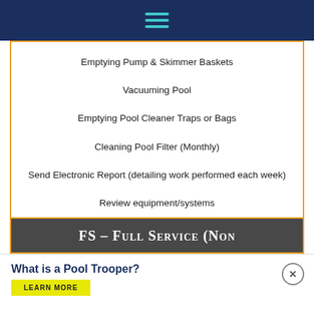hamburger menu icon
Emptying Pump & Skimmer Baskets
Vacuuming Pool
Emptying Pool Cleaner Traps or Bags
Cleaning Pool Filter (Monthly)
Send Electronic Report (detailing work performed each week)
Review equipment/systems
FS – Full Service (Non
What is a Pool Trooper?
LEARN MORE